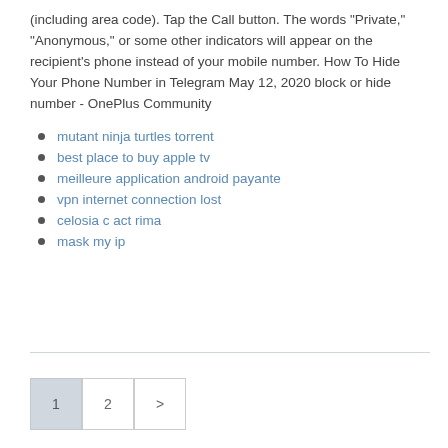(including area code). Tap the Call button. The words 'Private,' 'Anonymous,' or some other indicators will appear on the recipient's phone instead of your mobile number. How To Hide Your Phone Number in Telegram May 12, 2020 block or hide number - OnePlus Community
mutant ninja turtles torrent
best place to buy apple tv
meilleure application android payante
vpn internet connection lost
celosia c act rima
mask my ip